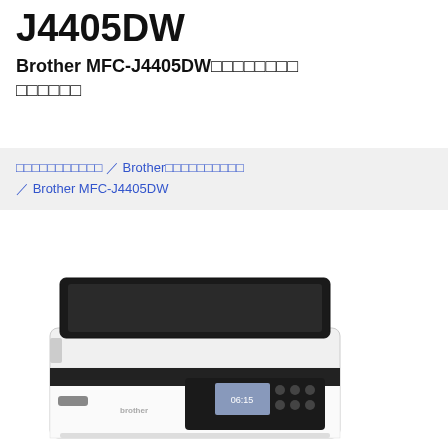J4405DW
Brother MFC-J4405DW□□□□□□□□□□□□□
□□□□□□□□□□□ / Brother□□□□□□□□□□ / Brother MFC-J4405DW
[Figure (photo): Brother MFC-J4405DW all-in-one inkjet printer, white and black color, front view showing control panel with LCD display]